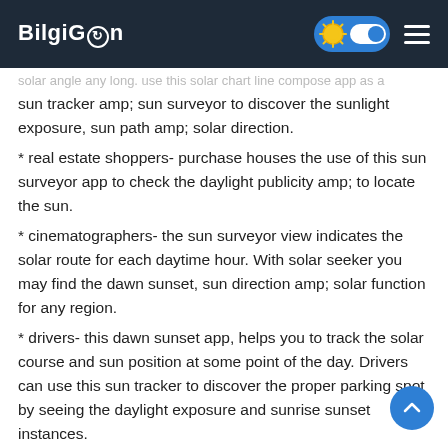BilgiGn
solar angle any long. use this solar chart line compose app as a sun tracker amp; sun surveyor to discover the sunlight exposure, sun path amp; solar direction.
* real estate shoppers- purchase houses the use of this sun surveyor app to check the daylight publicity amp; to locate the sun.
* cinematographers- the sun surveyor view indicates the solar route for each daytime hour. With solar seeker you may find the dawn sunset, sun direction amp; solar function for any region.
* drivers- this dawn sunset app, helps you to track the solar course and sun position at some point of the day. Drivers can use this sun tracker to discover the proper parking spot by seeing the daylight exposure and sunrise sunset instances.
* campers amp; picnickers- locating a great campsite is straightforward with sun seeker's sun tracker. With this